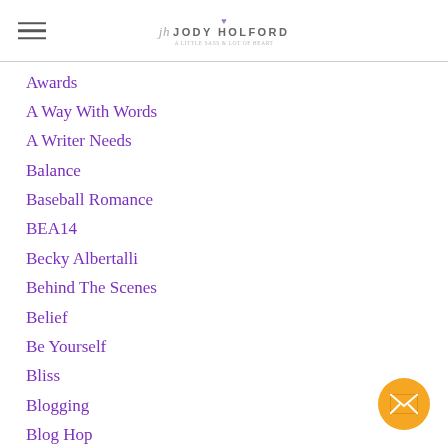Jody Holford
Awards
A Way With Words
A Writer Needs
Balance
Baseball Romance
BEA14
Becky Albertalli
Behind The Scenes
Belief
Be Yourself
Bliss
Blogging
Blog Hop
Blogs
Blog Tour
Bonus Material
Book 2